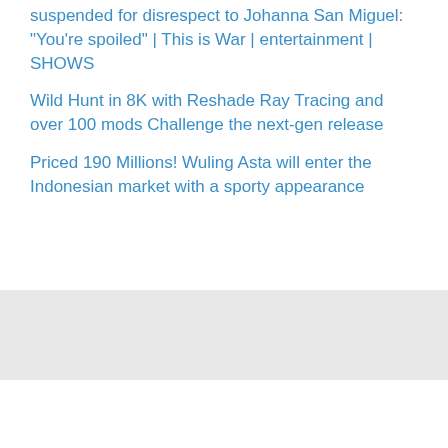suspended for disrespect to Johanna San Miguel: “You’re spoiled” | This is War | entertainment | SHOWS
Wild Hunt in 8K with Reshade Ray Tracing and over 100 mods Challenge the next-gen release
Priced 190 Millions! Wuling Asta will enter the Indonesian market with a sporty appearance